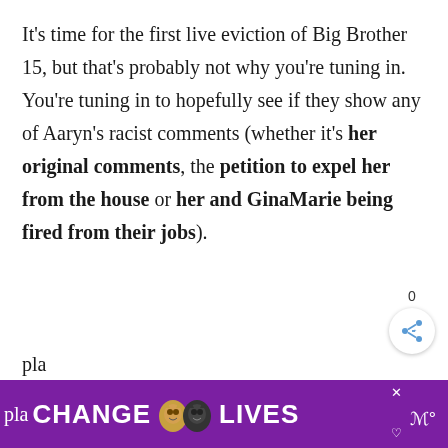It's time for the first live eviction of Big Brother 15, but that's probably not why you're tuning in. You're tuning in to hopefully see if they show any of Aaryn's racist comments (whether it's her original comments, the petition to expel her from the house or her and GinaMarie being fired from their jobs).
Of course, there's a lot more than just the controversy to see tonight. Between a master
[Figure (screenshot): Advertisement banner at bottom of page showing 'CHANGE LIVES' text with cat images on purple background, with close button X]